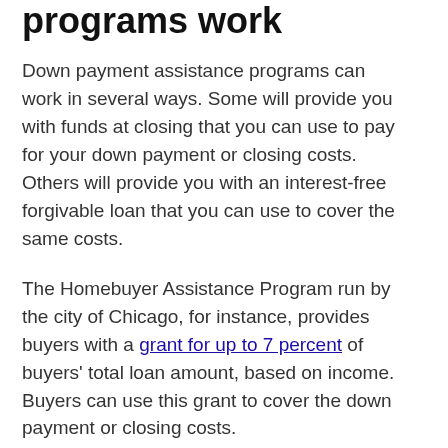programs work
Down payment assistance programs can work in several ways. Some will provide you with funds at closing that you can use to pay for your down payment or closing costs. Others will provide you with an interest-free forgivable loan that you can use to cover the same costs.
The Homebuyer Assistance Program run by the city of Chicago, for instance, provides buyers with a grant for up to 7 percent of buyers' total loan amount, based on income. Buyers can use this grant to cover the down payment or closing costs.
The Low Income Purchase Assistance Program from the city of Los Angeles is a bit more complicated. It provides a loan of up to $90,000 for down payment, closing, and acquisition costs. The loan is deferred, meaning that